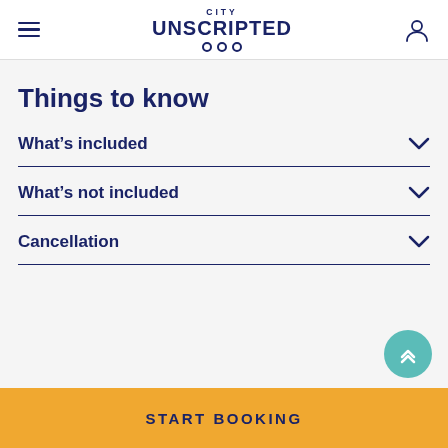City Unscripted
Things to know
What's included
What's not included
Cancellation
START BOOKING